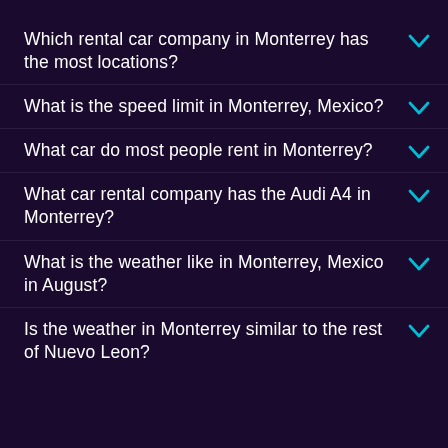Which rental car company in Monterrey has the most locations?
What is the speed limit in Monterrey, Mexico?
What car do most people rent in Monterrey?
What car rental company has the Audi A4 in Monterrey?
What is the weather like in Monterrey, Mexico in August?
Is the weather in Monterrey similar to the rest of Nuevo Leon?